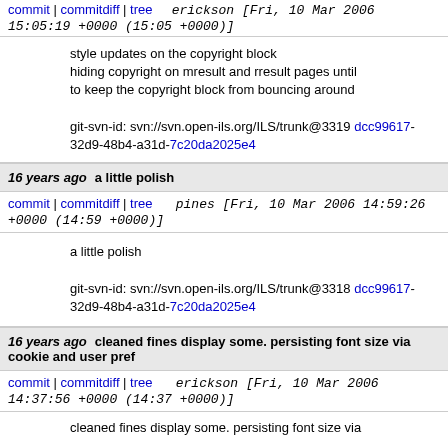commit | commitdiff | tree   erickson [Fri, 10 Mar 2006 15:05:19 +0000 (15:05 +0000)]
style updates on the copyright block hiding copyright on mresult and rresult pages until to keep the copyright block from bouncing around

git-svn-id: svn://svn.open-ils.org/ILS/trunk@3319 dcc99617-32d9-48b4-a31d-7c20da2025e4
16 years ago   a little polish
commit | commitdiff | tree   pines [Fri, 10 Mar 2006 14:59:26 +0000 (14:59 +0000)]
a little polish

git-svn-id: svn://svn.open-ils.org/ILS/trunk@3318 dcc99617-32d9-48b4-a31d-7c20da2025e4
16 years ago   cleaned fines display some. persisting font size via cookie and user pref
commit | commitdiff | tree   erickson [Fri, 10 Mar 2006 14:37:56 +0000 (14:37 +0000)]
cleaned fines display some. persisting font size via